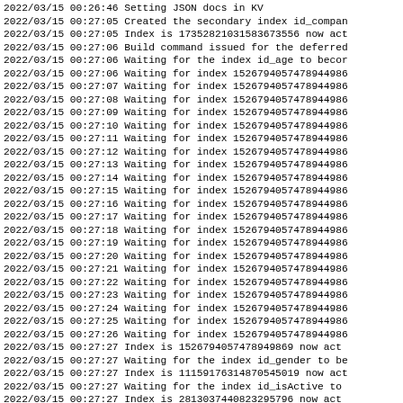2022/03/15 00:26:46 Setting JSON docs in KV
2022/03/15 00:27:05 Created the secondary index id_compan
2022/03/15 00:27:05 Index is 17352821031583673556 now act
2022/03/15 00:27:06 Build command issued for the deferred
2022/03/15 00:27:06 Waiting for the index id_age to becor
2022/03/15 00:27:06 Waiting for index 15267940574789449866
2022/03/15 00:27:07 Waiting for index 15267940574789449866
2022/03/15 00:27:08 Waiting for index 15267940574789449866
2022/03/15 00:27:09 Waiting for index 15267940574789449866
2022/03/15 00:27:10 Waiting for index 15267940574789449866
2022/03/15 00:27:11 Waiting for index 15267940574789449866
2022/03/15 00:27:12 Waiting for index 15267940574789449866
2022/03/15 00:27:13 Waiting for index 15267940574789449866
2022/03/15 00:27:14 Waiting for index 15267940574789449866
2022/03/15 00:27:15 Waiting for index 15267940574789449866
2022/03/15 00:27:16 Waiting for index 15267940574789449866
2022/03/15 00:27:17 Waiting for index 15267940574789449866
2022/03/15 00:27:18 Waiting for index 15267940574789449866
2022/03/15 00:27:19 Waiting for index 15267940574789449866
2022/03/15 00:27:20 Waiting for index 15267940574789449866
2022/03/15 00:27:21 Waiting for index 15267940574789449866
2022/03/15 00:27:22 Waiting for index 15267940574789449866
2022/03/15 00:27:23 Waiting for index 15267940574789449866
2022/03/15 00:27:24 Waiting for index 15267940574789449866
2022/03/15 00:27:25 Waiting for index 15267940574789449866
2022/03/15 00:27:26 Waiting for index 15267940574789449866
2022/03/15 00:27:27 Index is 1526794057478949869 now act
2022/03/15 00:27:27 Waiting for the index id_gender to be
2022/03/15 00:27:27 Index is 11159176314870545019 now act
2022/03/15 00:27:27 Waiting for the index id_isActive to
2022/03/15 00:27:27 Index is 2813037440823295796 now act